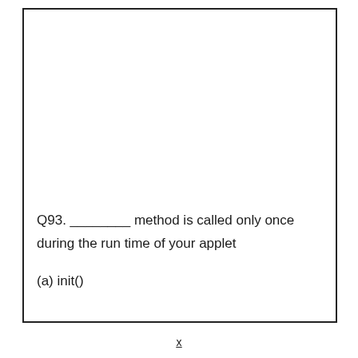Q93. ________ method is called only once during the run time of your applet
(a) init()
x